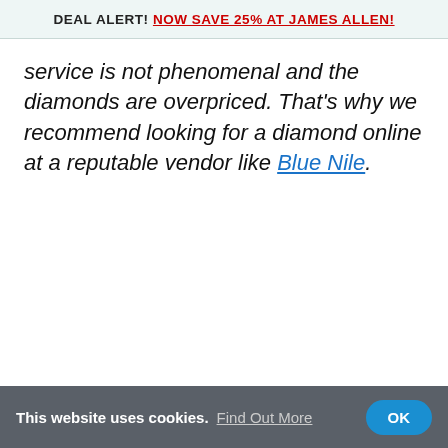DEAL ALERT! NOW SAVE 25% AT JAMES ALLEN!
service is not phenomenal and the diamonds are overpriced. That's why we recommend looking for a diamond online at a reputable vendor like Blue Nile.
This website uses cookies. Find Out More OK